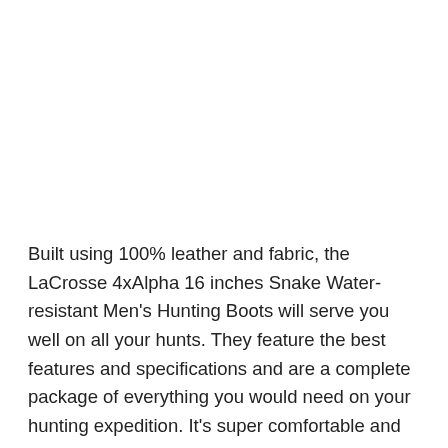Built using 100% leather and fabric, the LaCrosse 4xAlpha 16 inches Snake Water-resistant Men's Hunting Boots will serve you well on all your hunts. They feature the best features and specifications and are a complete package of everything you would need on your hunting expedition. It's super comfortable and durable while also being quite affordable so that you can enjoy premium features on a budget.